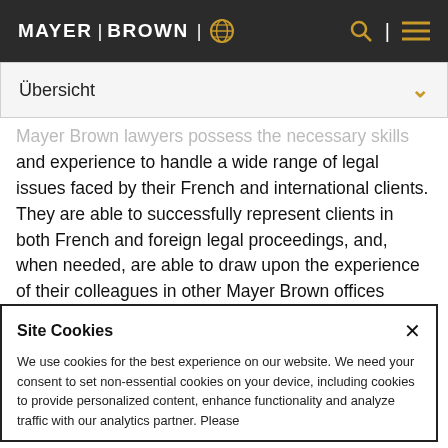MAYER | BROWN
Übersicht
Mayer Brown lawyers possess the necessary skills and experience to handle a wide range of legal issues faced by their French and international clients. They are able to successfully represent clients in both French and foreign legal proceedings, and, when needed, are able to draw upon the experience of their colleagues in other Mayer Brown offices strategically located in
Site Cookies
We use cookies for the best experience on our website. We need your consent to set non-essential cookies on your device, including cookies to provide personalized content, enhance functionality and analyze traffic with our analytics partner. Please